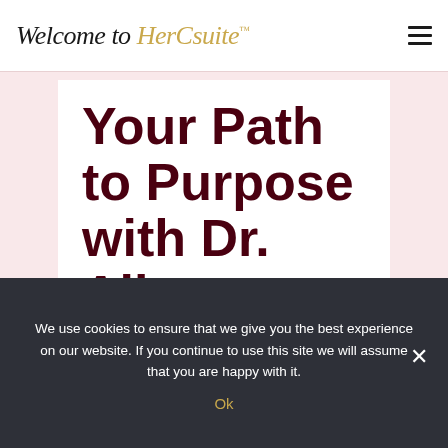Welcome to HerCsuite™
Your Path to Purpose with Dr. Alise Cortez
We use cookies to ensure that we give you the best experience on our website. If you continue to use this site we will assume that you are happy with it.
Ok